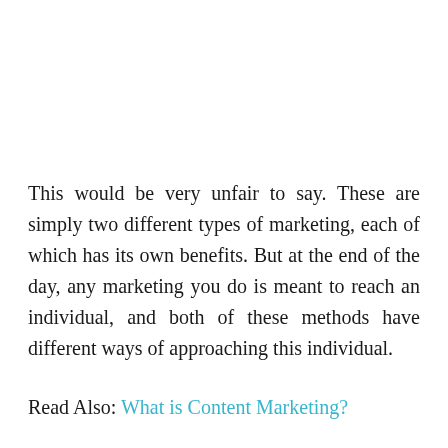This would be very unfair to say. These are simply two different types of marketing, each of which has its own benefits. But at the end of the day, any marketing you do is meant to reach an individual, and both of these methods have different ways of approaching this individual.
Read Also: What is Content Marketing?